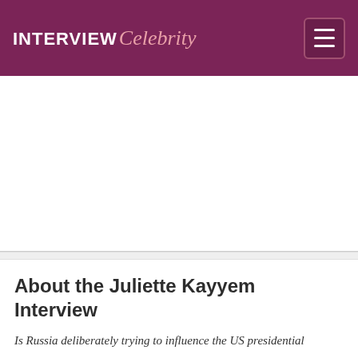INTERVIEW Celebrity
[Figure (other): Advertisement / blank white area placeholder]
About the Juliette Kayyem Interview
Is Russia deliberately trying to influence the US presidential